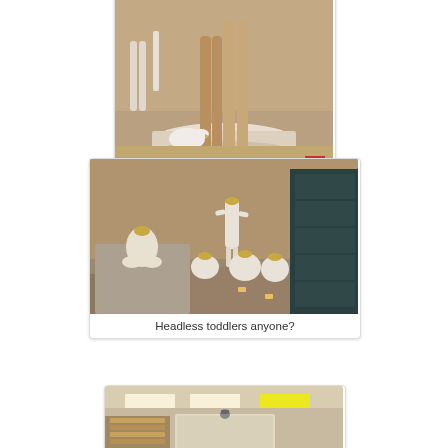[Figure (photo): Photo of headless mannequin legs standing on a circular white platform in a store, with smaller white mannequins visible in background]
[Figure (photo): Photo of multiple headless toddler mannequins sitting and lying on stepped carpet display platforms in a store room]
Headless toddlers anyone?
[Figure (photo): Photo of a store interior hallway with overhead lighting]